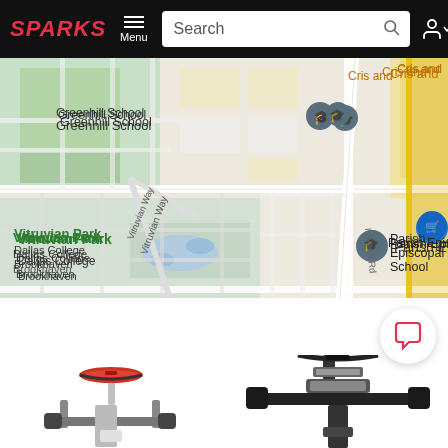[Figure (screenshot): SPARKS e-commerce website navigation bar with logo, menu button, search box, account icons, and cart icon with 0 badge]
[Figure (map): Google Maps view showing Greenhill School, Parish Episcopal School, Vitruvian Park, Dallas College Brookhaven, Spring Valley Rd, Alpha Rd, Inwood Rd, Vitruvian Way, and 'Cris and' label in top right corner]
[Figure (photo): Chat/message button icon (pink speech bubble) in white circular button]
[Figure (photo): Left side: top portion of a stationary exercise bike showing red and grey seat, handlebars with grips; Right side: top portion of another stationary bike showing dark handlebars and seat area]